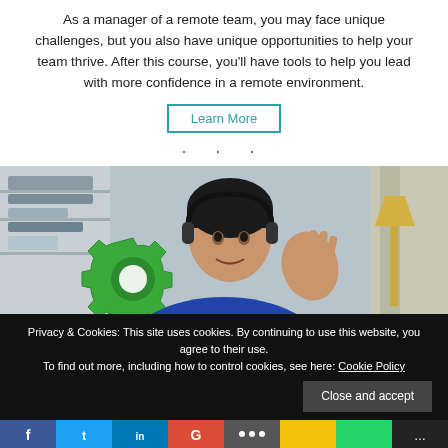As a manager of a remote team, you may face unique challenges, but you also have unique opportunities to help your team thrive. After this course, you'll have tools to help you lead with more confidence in a remote environment.
Learn More
· · ·
[Figure (photo): Woman wearing headphones and a polka dot shirt gesturing in front of a laptop, with a green gear icon overlay, in a home office setting.]
Privacy & Cookies: This site uses cookies. By continuing to use this website, you agree to their use.
To find out more, including how to control cookies, see here: Cookie Policy
Close and accept